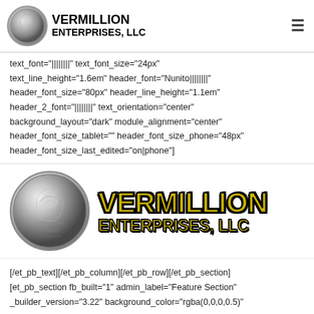VERMILLION ENTERPRISES, LLC
text_font="||||||||" text_font_size="24px" text_line_height="1.6em" header_font="Nunito||||||||" header_font_size="80px" header_line_height="1.1em" header_2_font="||||||||" text_orientation="center" background_layout="dark" module_alignment="center" header_font_size_tablet="" header_font_size_phone="48px" header_font_size_last_edited="on|phone"]
[Figure (logo): Vermillion Enterprises LLC large logo with coin image and bold gold/black text]
[/et_pb_text][/et_pb_column][/et_pb_row][/et_pb_section] [et_pb_section fb_built="1" admin_label="Feature Section" _builder_version="3.22" background_color="rgba(0,0,0,0.5)"